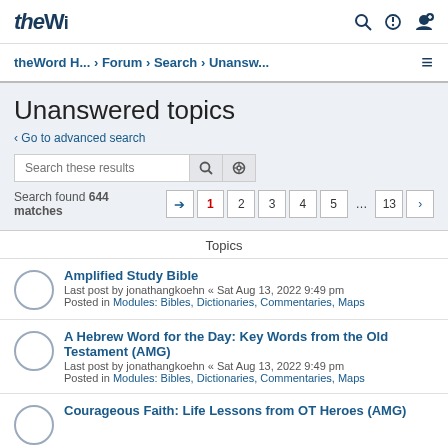theW... (logo) with search, power, and user icons
theWord H... › Forum › Search › Unansw...
Unanswered topics
‹ Go to advanced search
Search these results
Search found 644 matches  1 2 3 4 5 ... 13 ›
Topics
Amplified Study Bible
Last post by jonathangkoehn « Sat Aug 13, 2022 9:49 pm
Posted in Modules: Bibles, Dictionaries, Commentaries, Maps
A Hebrew Word for the Day: Key Words from the Old Testament (AMG)
Last post by jonathangkoehn « Sat Aug 13, 2022 9:49 pm
Posted in Modules: Bibles, Dictionaries, Commentaries, Maps
Courageous Faith: Life Lessons from OT Heroes (AMG)